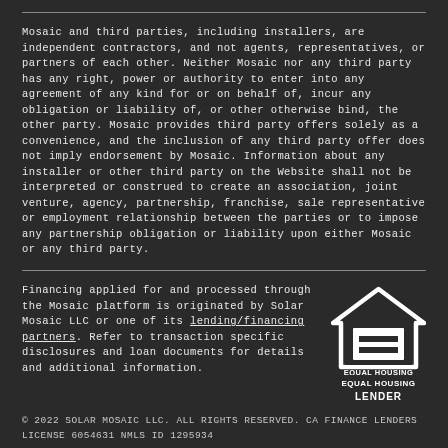Mosaic and third parties, including installers, are independent contractors, and not agents, representatives, or partners of each other. Neither Mosaic nor any third party has any right, power or authority to enter into any agreement of any kind for or on behalf of, incur any obligation or liability of, or other otherwise bind, the other party. Mosaic provides third party offers solely as a convenience, and the inclusion of any third party offer does not imply endorsement by Mosaic. Information about any installer or other third party on the Website shall not be interpreted or construed to create an association, joint venture, agency, partnership, franchise, sale representative or employment relationship between the parties or to impose any partnership obligation or liability upon either Mosaic or any third party.
Financing applied for and processed through the Mosaic platform is originated by Solar Mosaic LLC or one of its lending/financing partners. Refer to transaction specific disclosures and loan documents for details and additional information.
[Figure (logo): Equal Housing Lender logo — house outline with equals sign inside, text EQUAL HOUSING LENDER below]
© 2022 SOLAR MOSAIC LLC. ALL RIGHTS RESERVED. CA FINANCE LENDERS LICENSE 6054631 NMLS ID 1295934